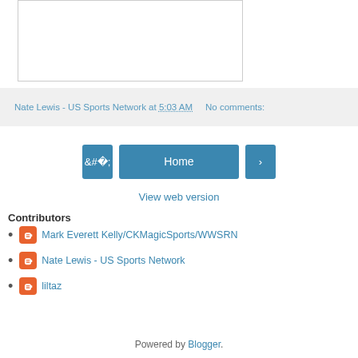[Figure (other): Partially visible image area at top of page, white rectangle with gray border]
Nate Lewis - US Sports Network at 5:03 AM    No comments:
[Figure (other): Navigation buttons: left arrow, Home button, right arrow]
View web version
Contributors
Mark Everett Kelly/CKMagicSports/WWSRN
Nate Lewis - US Sports Network
liltaz
Powered by Blogger.